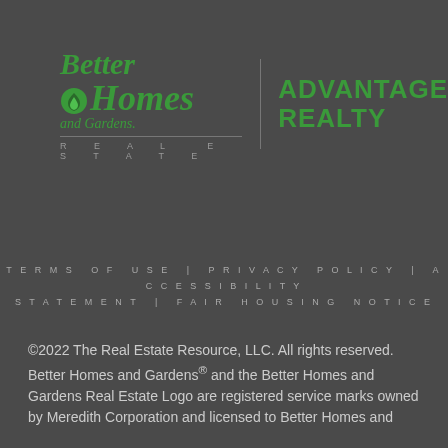[Figure (logo): Better Homes and Gardens Real Estate | Advantage Realty logo in green on dark gray background]
TERMS OF USE | PRIVACY POLICY | ACCESSIBILITY STATEMENT | FAIR HOUSING NOTICE
©2022 The Real Estate Resource, LLC. All rights reserved. Better Homes and Gardens® and the Better Homes and Gardens Real Estate Logo are registered service marks owned by Meredith Corporation and licensed to Better Homes and